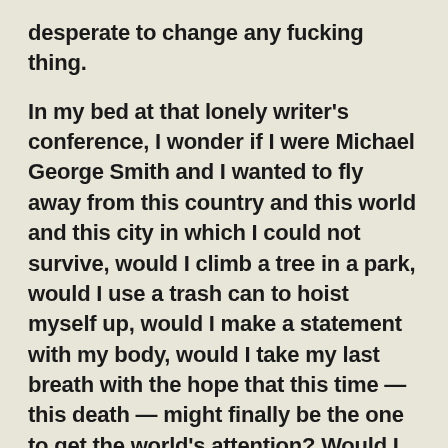desperate to change any fucking thing.
In my bed at that lonely writer's conference, I wonder if I were Michael George Smith and I wanted to fly away from this country and this world and this city in which I could not survive, would I climb a tree in a park, would I use a trash can to hoist myself up, would I make a statement with my body, would I take my last breath with the hope that this time — this death — might finally be the one to get the world's attention? Would I hope that maybe this one — this death — might get people talking about modern-day lynchings? Because how many more do there have to be?